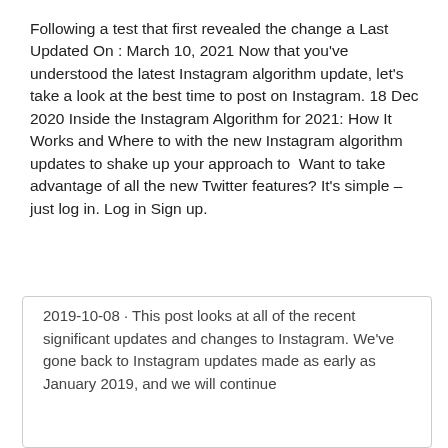Following a test that first revealed the change a Last Updated On : March 10, 2021 Now that you've understood the latest Instagram algorithm update, let's take a look at the best time to post on Instagram. 18 Dec 2020 Inside the Instagram Algorithm for 2021: How It Works and Where to with the new Instagram algorithm updates to shake up your approach to  Want to take advantage of all the new Twitter features? It's simple – just log in. Log in Sign up.
2019-10-08 · This post looks at all of the recent significant updates and changes to Instagram. We've gone back to Instagram updates made as early as January 2019, and we will continue